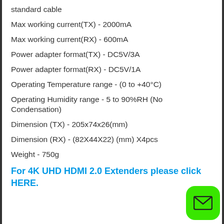standard cable
Max working current(TX) - 2000mA
Max working current(RX) - 600mA
Power adapter format(TX) - DC5V/3A
Power adapter format(RX) - DC5V/1A
Operating Temperature range - (0 to +40°C)
Operating Humidity range - 5 to 90%RH (No Condensation)
Dimension (TX) - 205x74x26(mm)
Dimension (RX) - (82X44X22) (mm) X4pcs
Weight - 750g
For 4K UHD HDMI 2.0 Extenders please click HERE.